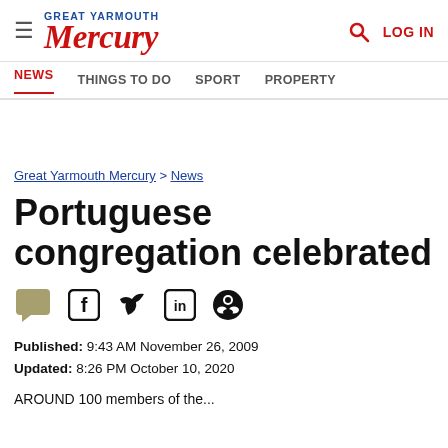Great Yarmouth Mercury — LOG IN
NEWS  THINGS TO DO  SPORT  PROPERTY
Great Yarmouth Mercury > News
Portuguese congregation celebrated
[Figure (other): Social sharing icons: comment, Facebook, Twitter, LinkedIn, Reddit]
Published: 9:43 AM November 26, 2009
Updated: 8:26 PM October 10, 2020
AROUND 100 members of the...